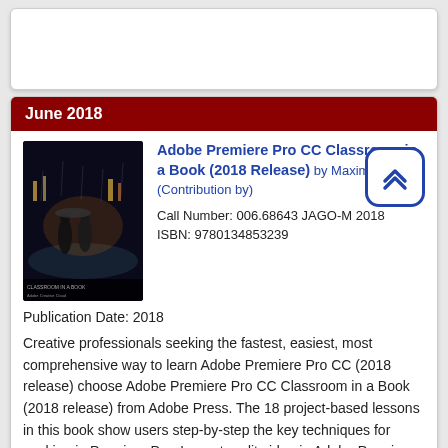[Figure (other): Empty white card area at top of page]
June 2018
[Figure (photo): Book cover for Adobe Premiere Pro CC Classroom in a Book (2018 Release) showing two people walking in rain on a dark city street at night]
Adobe Premiere Pro CC Classroom in a Book (2018 Release) by Maxim Jago (Contribution by)
Call Number: 006.68643 JAGO-M 2018
ISBN: 9780134853239
Publication Date: 2018
Creative professionals seeking the fastest, easiest, most comprehensive way to learn Adobe Premiere Pro CC (2018 release) choose Adobe Premiere Pro CC Classroom in a Book (2018 release) from Adobe Press. The 18 project-based lessons in this book show users step-by-step the key techniques for working in Premiere Pro. Learn to edit video in Adobe Premiere Pro CC 2018 and get the most out of